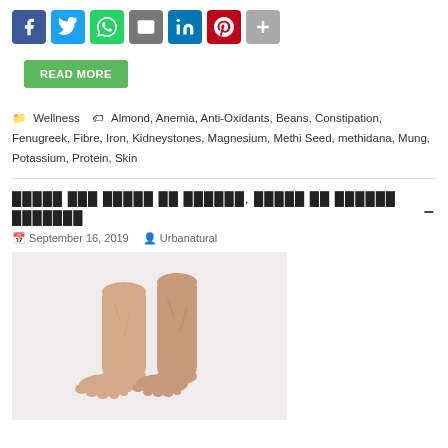[Figure (other): Social media sharing icons: Facebook, Twitter, WhatsApp, Email, LinkedIn, Pinterest, Share (plus)]
READ MORE
Wellness   Almond, Anemia, Anti-Oxidants, Beans, Constipation, Fenugreek, Fibre, Iron, Kidneystones, Magnesium, Methi Seed, methidana, Mung, Potassium, Protein, Skin
[Hindi script article title]
September 16, 2019   Urbanatural
[Figure (photo): Photo of a pair of bare human legs and feet against a white/light grey background]